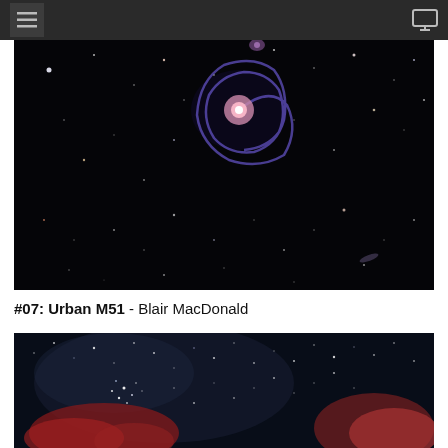[Figure (photo): Astrophotography image of the Whirlpool Galaxy (M51), a spiral galaxy visible against a black star field. The galaxy shows a blue-purple spiral structure near the top center of the image, with numerous stars scattered across the dark background.]
#07: Urban M51 - Blair MacDonald
[Figure (photo): Wide-field astrophotography image showing a dark blue star field with dense star clusters and reddish nebula regions visible in the lower portions of the image.]